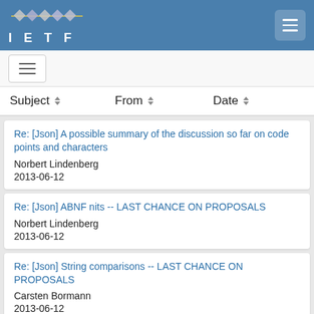IETF navigation header
Re: [Json] A possible summary of the discussion so far on code points and characters
Norbert Lindenberg
2013-06-12
Re: [Json] ABNF nits -- LAST CHANCE ON PROPOSALS
Norbert Lindenberg
2013-06-12
Re: [Json] String comparisons -- LAST CHANCE ON PROPOSALS
Carsten Bormann
2013-06-12
Re: [Json] ABNF nits -- LAST CHANCE ON PROPOSALS